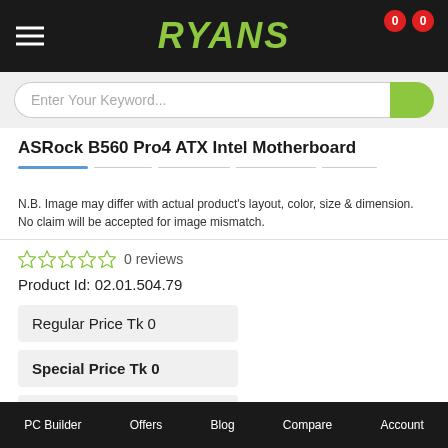RYANS
ASRock B560 Pro4 ATX Intel Motherboard
N.B. Image may differ with actual product's layout, color, size & dimension. No claim will be accepted for image mismatch.
0 reviews
Product Id: 02.01.504.79
Regular Price Tk 0
Special Price Tk 0
Out Of Stock
Quick Overview
PC Builder   Offers   Blog   Compare   Account